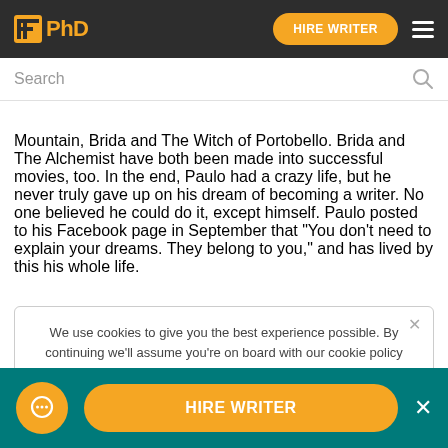PhD | HIRE WRITER
Mountain, Brida and The Witch of Portobello. Brida and The Alchemist have both been made into successful movies, too. In the end, Paulo had a crazy life, but he never truly gave up on his dream of becoming a writer. No one believed he could do it, except himself. Paulo posted to his Facebook page in September that “You don’t need to explain your dreams. They belong to you,” and has lived by this his whole life.
We use cookies to give you the best experience possible. By continuing we’ll assume you’re on board with our cookie policy
HIRE WRITER